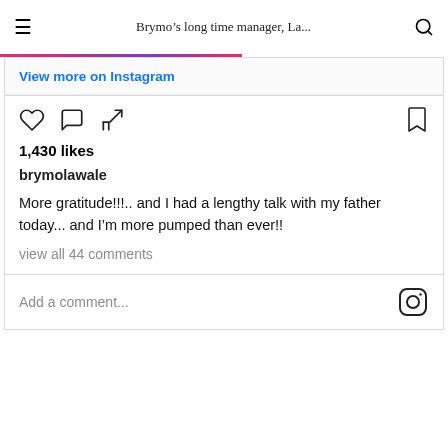Brymo’s long time manager, La...
View more on Instagram
1,430 likes
brymolawale
More gratitude!!!.. and I had a lengthy talk with my father today... and I’m more pumped than ever!!
view all 44 comments
Add a comment...